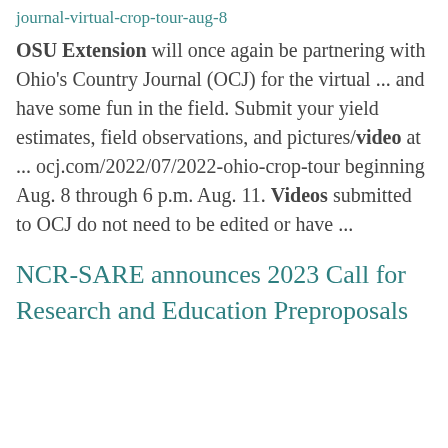journal-virtual-crop-tour-aug-8
OSU Extension will once again be partnering with Ohio's Country Journal (OCJ) for the virtual ... and have some fun in the field. Submit your yield estimates, field observations, and pictures/video at ... ocj.com/2022/07/2022-ohio-crop-tour beginning Aug. 8 through 6 p.m. Aug. 11. Videos submitted to OCJ do not need to be edited or have ...
NCR-SARE announces 2023 Call for Research and Education Preproposals